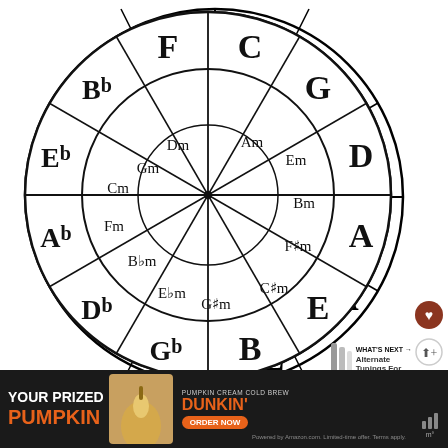[Figure (infographic): Circle of Fifths diagram showing major keys on the outer ring (C, G, D, A, E, B, Gb, Db, Ab, Eb, Bb, F) and minor keys on the inner ring (Am, Em, Bm, F#m, C#m, G#m, Eb m, Bbm, Fm, Cm, Gm, Dm)]
WHAT'S NEXT → Alternate Tunings For...
[Figure (illustration): Heart icon button (red/brown circle)]
[Figure (illustration): Share icon button]
[Figure (advertisement): Dunkin advertisement: YOUR PRIZED PUMPKIN - Pumpkin Cream Cold Brew - Dunkin' - ORDER NOW]